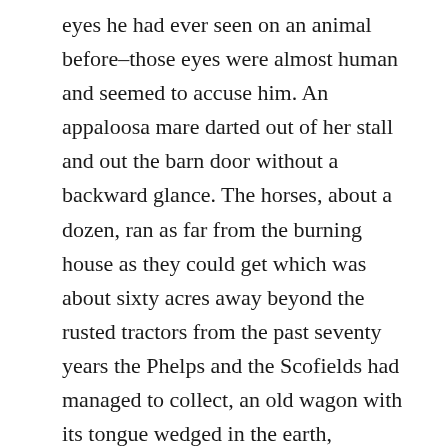eyes he had ever seen on an animal before–those eyes were almost human and seemed to accuse him. An appaloosa mare darted out of her stall and out the barn door without a backward glance. The horses, about a dozen, ran as far from the burning house as they could get which was about sixty acres away beyond the rusted tractors from the past seventy years the Phelps and the Scofields had managed to collect, an old wagon with its tongue wedged in the earth, threshing machines, castoff haymowers, twin hulls of a Chalmier and a hupmobile, combine, and various outbuildings including three barns. The second oldest barn was peeling red paint with just a faint memory of a white circle with a star in the center to ward off evil and bad luck